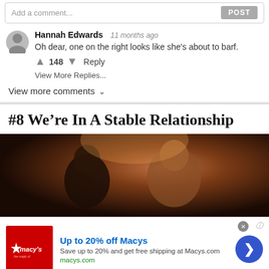Add a comment... POST
Hannah Edwards  11 months ago
Oh dear, one on the right looks like she's about to barf.
↑ 148 ↓ Reply
View More Replies...
View more comments ∨
#8 We're In A Stable Relationship
[Figure (photo): Two people in a dark scene, one laughing, one smiling, warm-toned lighting]
[Figure (infographic): Macy's advertisement banner: Up to 20% off Macys, Save up to 20% and get free shipping at Macys.com, macys.com]